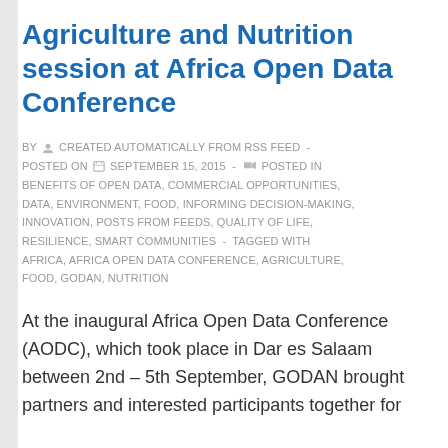Agriculture and Nutrition session at Africa Open Data Conference
BY  CREATED AUTOMATICALLY FROM RSS FEED  -  POSTED ON  SEPTEMBER 15, 2015  -   POSTED IN BENEFITS OF OPEN DATA, COMMERCIAL OPPORTUNITIES, DATA, ENVIRONMENT, FOOD, INFORMING DECISION-MAKING, INNOVATION, POSTS FROM FEEDS, QUALITY OF LIFE, RESILIENCE, SMART COMMUNITIES  -  TAGGED WITH AFRICA, AFRICA OPEN DATA CONFERENCE, AGRICULTURE, FOOD, GODAN, NUTRITION
At the inaugural Africa Open Data Conference (AODC), which took place in Dar es Salaam between 2nd – 5th September, GODAN brought partners and interested participants together for